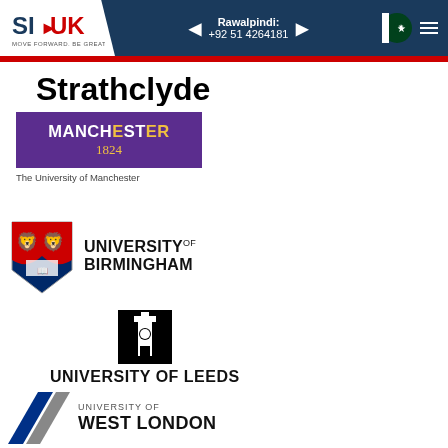SI-UK | MOVE FORWARD. BE GREAT. | Rawalpindi: +92 51 4264181
[Figure (logo): University of Strathclyde logo - text reading 'Strathclyde' in bold black]
[Figure (logo): Manchester 1824 logo in purple box with gold text, below: The University of Manchester]
[Figure (logo): University of Birmingham logo with shield crest and bold text]
[Figure (logo): University of Leeds logo with black square tower icon and bold text]
[Figure (logo): University of West London logo with blue and grey chevron mark]